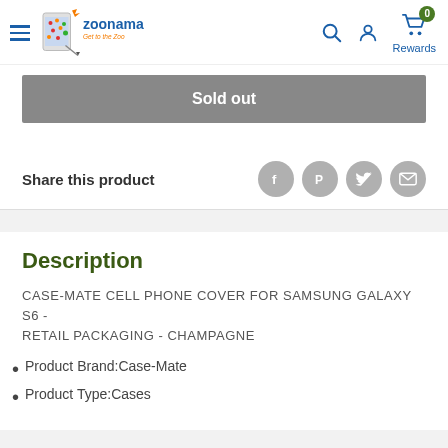Zoonama - Get to the Zoo | Navigation header with search, account, cart (Rewards 0)
Sold out
Share this product
Description
CASE-MATE CELL PHONE COVER FOR SAMSUNG GALAXY S6 - RETAIL PACKAGING - CHAMPAGNE
Product Brand:Case-Mate
Product Type:Cases